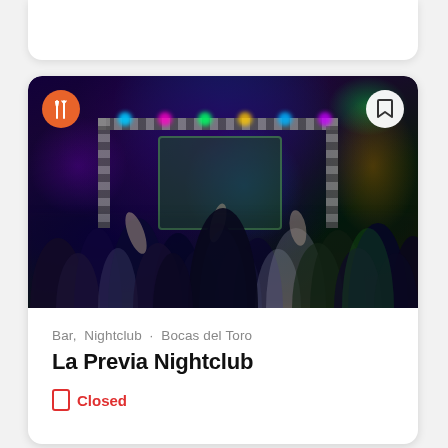[Figure (photo): Crowded nightclub dance floor with blue and green stage lighting, a truss structure with lights, and people dancing]
Bar,  Nightclub  ·  Bocas del Toro
La Previa Nightclub
Closed